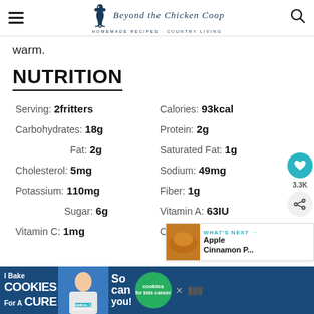Beyond the Chicken Coop — Homemade Recipes · Country Living
warm.
NUTRITION
Serving: 2fritters   Calories: 93kcal
Carbohydrates: 18g   Protein: 2g
Fat: 2g   Saturated Fat: 1g
Cholesterol: 5mg   Sodium: 49mg
Potassium: 110mg   Fiber: 1g
Sugar: 6g   Vitamin A: 63IU
Vitamin C: 1mg   Calcium: 44mg